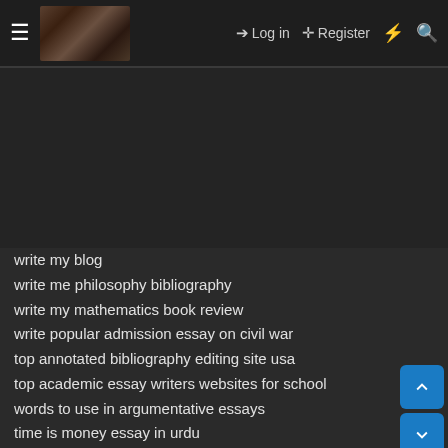≡ [logo] → Log in   ⚲ Register  ⚡ 🔍
[Figure (other): Dark background / advertisement area]
write my blog
write me philosophy bibliography
write my mathematics book review
write popular admission essay on civil war
top annotated bibliography editing site usa
top academic essay writers websites for school
words to use in argumentative essays
time is money essay in urdu
top problem solving writer services for mba
travel writing coursework
what is the aim of a literature review
william wordsworth the tables turn essay